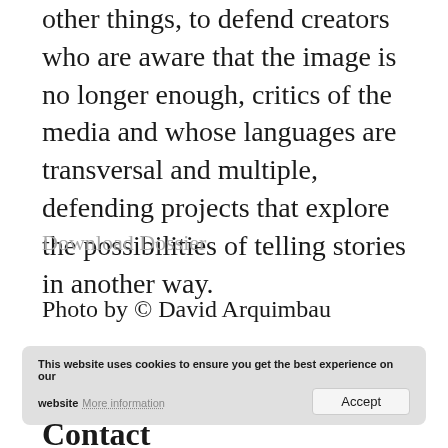other things, to defend creators who are aware that the image is no longer enough, critics of the media and whose languages are transversal and multiple, defending projects that explore the possibilities of telling stories in another way.
Download Dossier
Photo by © David Arquimbau
This website uses cookies to ensure you get the best experience on our website More information Accept
Contact